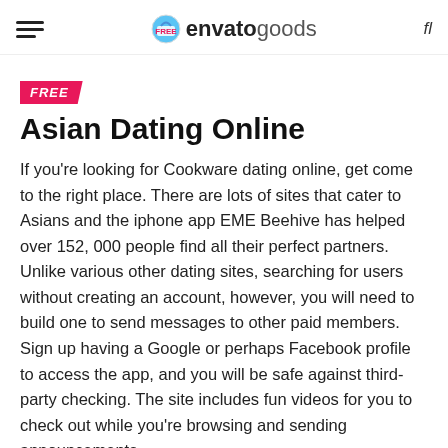envatogoods
Asian Dating Online
If you're looking for Cookware dating online, get come to the right place. There are lots of sites that cater to Asians and the iphone app EME Beehive has helped over 152,000 people find all their perfect partners. Unlike various other dating sites, searching for users without creating an account, however, you will need to build one to send messages to other paid members. Sign up having a Google or perhaps Facebook profile to access the app, and you will be safe against third-party checking. The site includes fun videos for you to check out while you're browsing and sending announcements.
Meant for an affordable a regular membership, try